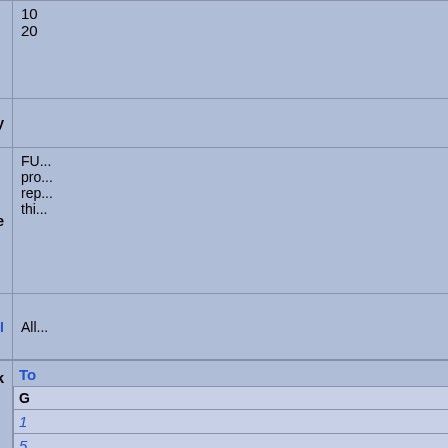| Field | Value |
| --- | --- |
|  | 10
20 |
| Validation Efficiency |  |
| MGI Phenotype | FU...
pro...
rep...
thi... |
| Allele List at MGI | All... |
| Other mutations in this stock | To...
G...
1...
5...
A...
A...
A...
A...
A... |